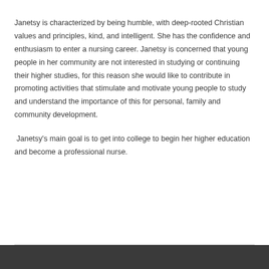Janetsy is characterized by being humble, with deep-rooted Christian values and principles, kind, and intelligent. She has the confidence and enthusiasm to enter a nursing career. Janetsy is concerned that young people in her community are not interested in studying or continuing their higher studies, for this reason she would like to contribute in promoting activities that stimulate and motivate young people to study and understand the importance of this for personal, family and community development.
Janetsy's main goal is to get into college to begin her higher education and become a professional nurse.